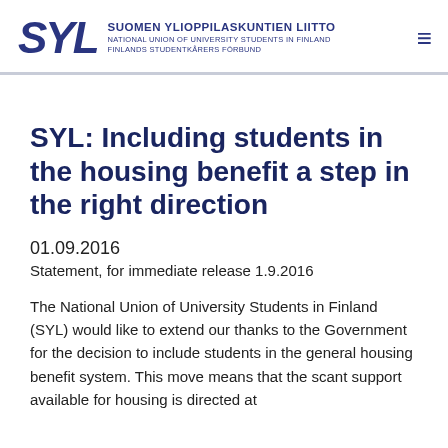SYL SUOMEN YLIOPPILASKUNTIEN LIITTO NATIONAL UNION OF UNIVERSITY STUDENTS IN FINLAND FINLANDS STUDENTKÅRERS FÖRBUND
SYL: Including students in the housing benefit a step in the right direction
01.09.2016
Statement, for immediate release 1.9.2016
The National Union of University Students in Finland (SYL) would like to extend our thanks to the Government for the decision to include students in the general housing benefit system. This move means that the scant support available for housing is directed at